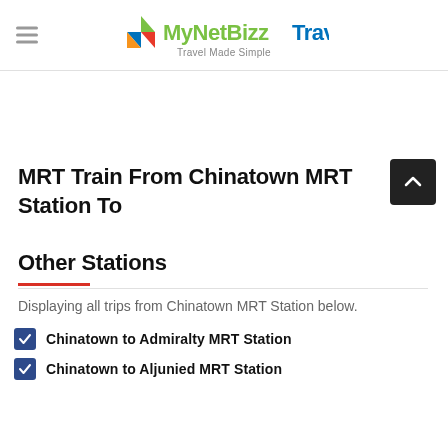MyNetBizzTravel — Travel Made Simple
MRT Train From Chinatown MRT Station To Other Stations
Displaying all trips from Chinatown MRT Station below.
Chinatown to Admiralty MRT Station
Chinatown to Aljunied MRT Station